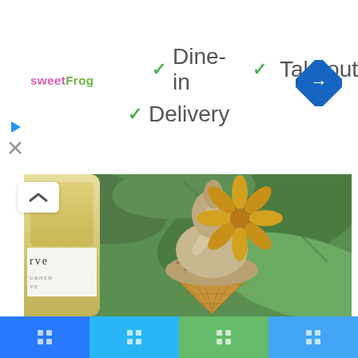[Figure (logo): sweetFrog logo in pink and green text]
✓ Dine-in  ✓ Takeout
✓ Delivery
[Figure (logo): Blue diamond navigation icon with right-turn arrow]
[Figure (photo): Ice cream cone with soft serve and dried pineapple flower topping, with toasted coconut or crumble, held by a hand against tropical green leaves background. A drink bottle is visible on the left with partial text 'rve' and 'URNED' and 'VE'.]
[Figure (screenshot): Bottom navigation bar with four icon buttons in blue, light blue, green, and medium blue colors]